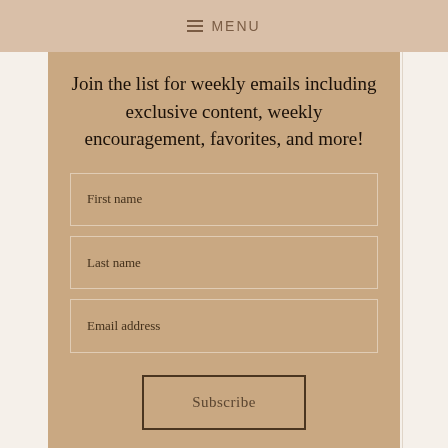MENU
Join the list for weekly emails including exclusive content, weekly encouragement, favorites, and more!
First name
Last name
Email address
Subscribe